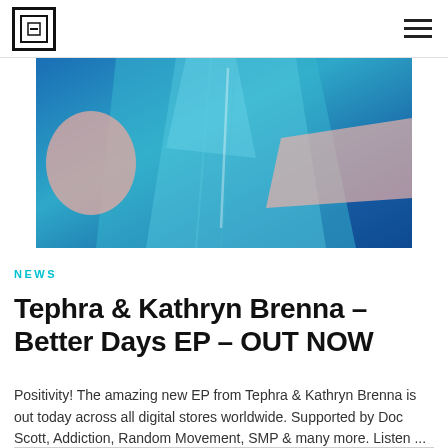[logo] [hamburger menu]
[Figure (photo): Abstract painting with blue and pink brushstrokes, textured surface]
NEWS
Tephra & Kathryn Brenna – Better Days EP – OUT NOW
Positivity! The amazing new EP from Tephra & Kathryn Brenna is out today across all digital stores worldwide. Supported by Doc Scott, Addiction, Random Movement, SMP & many more. Listen ...